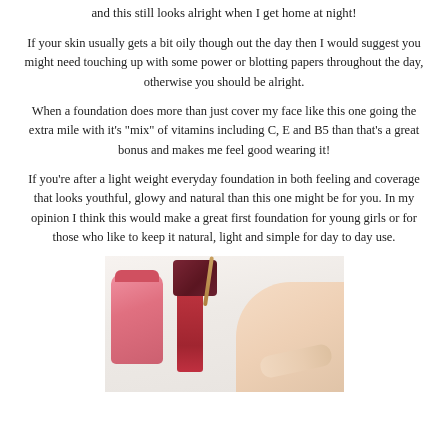and this still looks alright when I get home at night!
If your skin usually gets a bit oily though out the day then I would suggest you might need touching up with some power or blotting papers throughout the day, otherwise you should be alright.
When a foundation does more than just cover my face like this one going the extra mile with it's "mix" of vitamins including C, E and B5 than that's a great bonus and makes me feel good wearing it!
If you're after a light weight everyday foundation in both feeling and coverage that looks youthful, glowy and natural than this one might be for you. In my opinion I think this would make a great first foundation for young girls or for those who like to keep it natural, light and simple for day to day use.
[Figure (photo): Photo of makeup foundation products including a pink bottle, red tube, dark red box cap, and skin swatch on a light background]